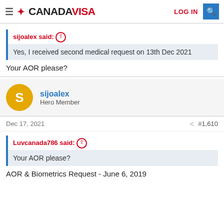CANADA VISA — LOG IN
sijoalex said: ↑
Yes, I received second medical request on 13th Dec 2021
Your AOR please?
sijoalex
Hero Member
Dec 17, 2021  #1,610
Luvcanada786 said: ↑
Your AOR please?
AOR & Biometrics Request - June 6, 2019